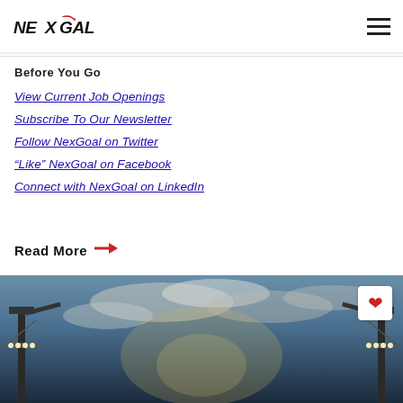NexGoal logo and navigation
Before You Go
View Current Job Openings
Subscribe To Our Newsletter
Follow NexGoal on Twitter
“Like” NexGoal on Facebook
Connect with NexGoal on LinkedIn
Read More →
[Figure (photo): Stadium floodlight towers against a dramatic cloudy sky background with a heart/like button overlay in the top right corner]